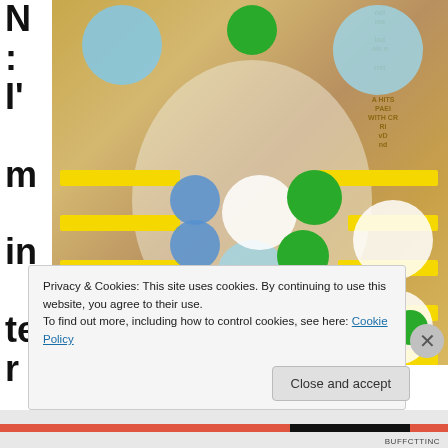N:
l'
m
in
te
r
e
st
e
d
[Figure (photo): A food photo overlaid with colored circles (light blue, green, white, blue) and yellow horizontal bars forming a graphic design pattern over what appears to be fried food on a plate]
Privacy & Cookies: This site uses cookies. By continuing to use this website, you agree to their use.
To find out more, including how to control cookies, see here: Cookie Policy
Close and accept